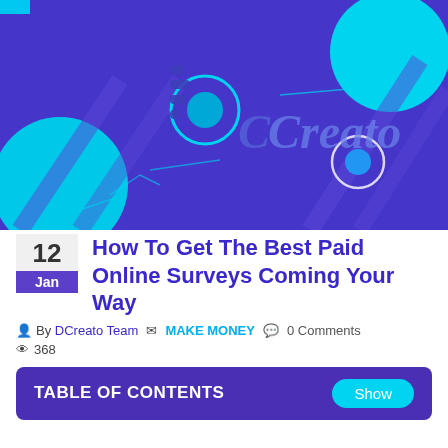[Figure (illustration): DCreato brand banner image with purple/blue background, cyan circles, diagonal stripes, and DCreato logo text in the center]
How To Get The Best Paid Online Surveys Coming Your Way
By DCreato Team   MAKE MONEY   0 Comments   368
TABLE OF CONTENTS   Show